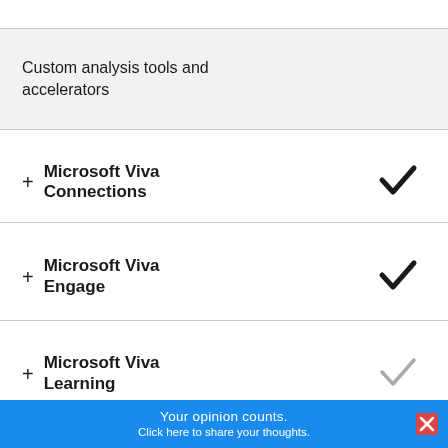Custom analysis tools and accelerators
+ Microsoft Viva Connections ✓
+ Microsoft Viva Engage ✓
+ Microsoft Viva Learning ✓ (outline)
Your opinion counts. Click here to share your thoughts.